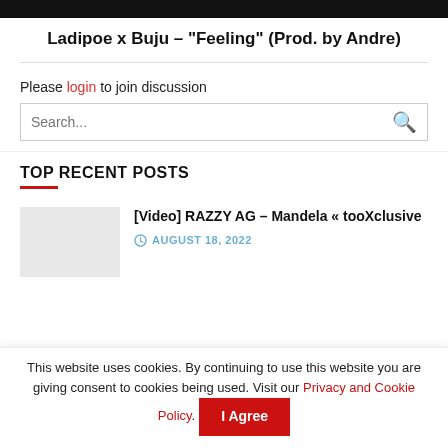Ladipoe x Buju – “Feeling” (Prod. by Andre)
Please login to join discussion
TOP RECENT POSTS
[Video] RAZZY AG – Mandela « tooXclusive
AUGUST 18, 2022
This website uses cookies. By continuing to use this website you are giving consent to cookies being used. Visit our Privacy and Cookie Policy.